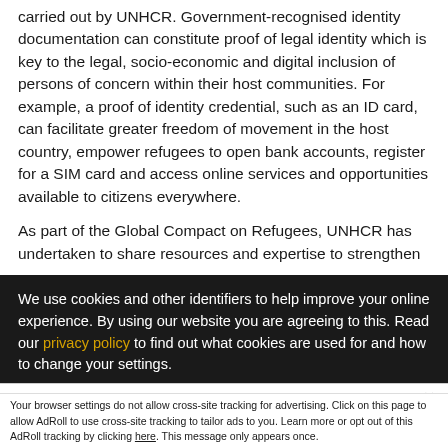carried out by UNHCR. Government-recognised identity documentation can constitute proof of legal identity which is key to the legal, socio-economic and digital inclusion of persons of concern within their host communities. For example, a proof of identity credential, such as an ID card, can facilitate greater freedom of movement in the host country, empower refugees to open bank accounts, register for a SIM card and access online services and opportunities available to citizens everywhere.
As part of the Global Compact on Refugees, UNHCR has undertaken to share resources and expertise to strengthen
We use cookies and other identifiers to help improve your online experience. By using our website you are agreeing to this. Read our privacy policy to find out what cookies are used for and how to change your settings.
Accept and Close ✕
Your browser settings do not allow cross-site tracking for advertising. Click on this page to allow AdRoll to use cross-site tracking to tailor ads to you. Learn more or opt out of this AdRoll tracking by clicking here. This message only appears once.